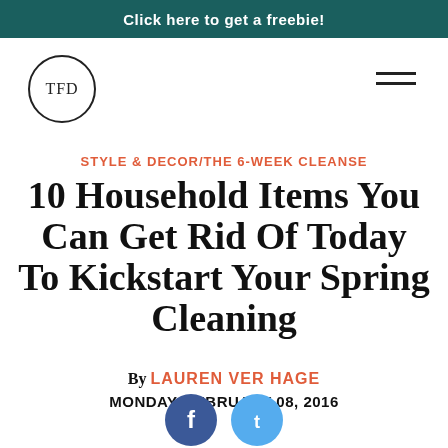Click here to get a freebie!
[Figure (logo): TFD circular logo with text TFD inside a circle border]
[Figure (other): Hamburger menu icon with two horizontal lines]
STYLE & DECOR/THE 6-WEEK CLEANSE
10 Household Items You Can Get Rid Of Today To Kickstart Your Spring Cleaning
By LAUREN VER HAGE
MONDAY, FEBRUARY 08, 2016
[Figure (other): Social media share buttons (Facebook and another platform) at bottom of page]